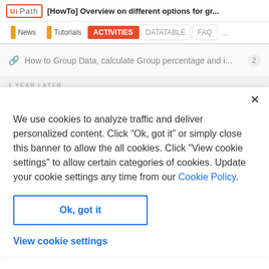[HowTo] Overview on different options for gr...
News | Tutorials | ACTIVITIES | DATATABLE | FAQ | ...
How to Group Data, calculate Group percentage and i... 2
1 YEAR LATER
We use cookies to analyze traffic and deliver personalized content. Click “Ok, got it” or simply close this banner to allow the all cookies. Click "View cookie settings" to allow certain categories of cookies. Update your cookie settings any time from our Cookie Policy.
Ok, got it
View cookie settings